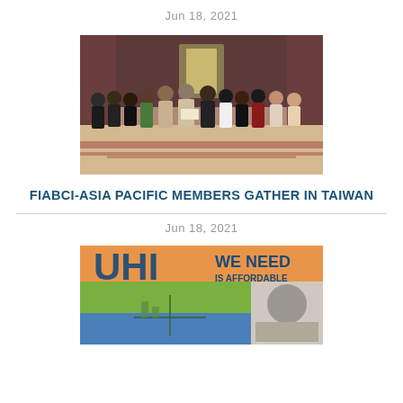Jun 18, 2021
[Figure (photo): Group photo of approximately 12 people in formal attire standing in a ceremonial hall, two individuals in the center appear to be exchanging a document or award.]
FIABCI-ASIA PACIFIC MEMBERS GATHER IN TAIWAN
Jun 18, 2021
[Figure (photo): Cover image of a publication showing text 'UHI WE NEED IS AFFORDABLE' with colorful background sections in orange, green, and blue.]